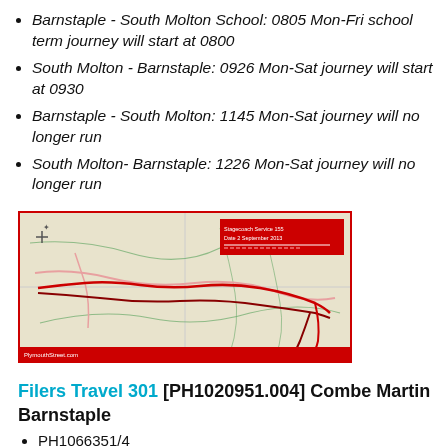Barnstaple - South Molton School: 0805 Mon-Fri school term journey will start at 0800
South Molton - Barnstaple: 0926 Mon-Sat journey will start at 0930
Barnstaple - South Molton: 1145 Mon-Sat journey will no longer run
South Molton- Barnstaple: 1226 Mon-Sat journey will no longer run
[Figure (map): Road map showing bus route between Barnstaple and South Molton, with red route lines overlaid on a street map. A red legend box in the top right and a red footer bar at the bottom reading PlymouthStreet.com.]
Filers Travel 301 [PH1020951.004] Combe Martin Barnstaple
PH1066351/4
FILERS TRAVEL LIMITED.